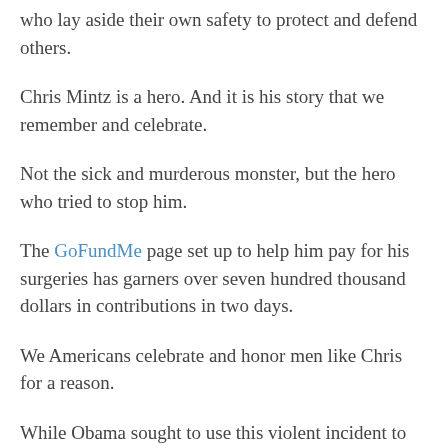who lay aside their own safety to protect and defend others.
Chris Mintz is a hero. And it is his story that we remember and celebrate.
Not the sick and murderous monster, but the hero who tried to stop him.
The GoFundMe page set up to help him pay for his surgeries has garners over seven hundred thousand dollars in contributions in two days.
We Americans celebrate and honor men like Chris for a reason.
While Obama sought to use this violent incident to advance his agenda and politicize the deaths of nine people, Chris Mintz reminds us that out of tragedy can come great things. We see men and